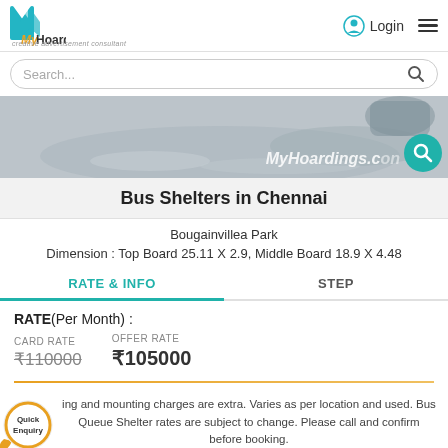[Figure (logo): MyHoardings.com logo with teal M graphic and tagline 'creative advertisement consultant']
Login
[Figure (photo): Bus shelter photo with sky and motorcycle shadow, watermark MyHoardings.com]
Bus Shelters in Chennai
Bougainvillea Park
Dimension : Top Board 25.11 X 2.9, Middle Board 18.9 X 4.48
RATE & INFO
STEP
RATE(Per Month) :
CARD RATE
₹110000
OFFER RATE
₹105000
ing and mounting charges are extra. Varies as per location and used. Bus Queue Shelter rates are subject to change. Please call and confirm before booking.